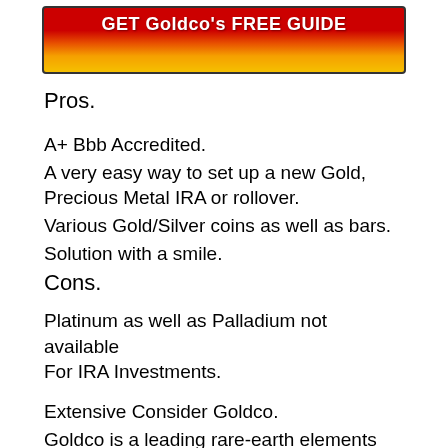[Figure (other): Red to gold gradient banner button with white bold text reading GET Goldco's FREE GUIDE]
Pros.
A+ Bbb Accredited.
A very easy way to set up a new Gold, Precious Metal IRA or rollover.
Various Gold/Silver coins as well as bars.
Solution with a smile.
Cons.
Platinum as well as Palladium not available For IRA Investments.
Extensive Consider Goldco.
Goldco is a leading rare-earth elements